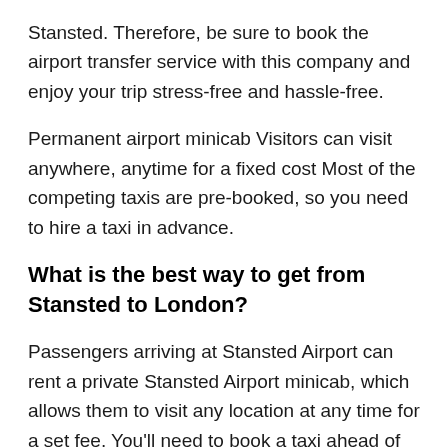Stansted. Therefore, be sure to book the airport transfer service with this company and enjoy your trip stress-free and hassle-free.
Permanent airport minicab Visitors can visit anywhere, anytime for a fixed cost Most of the competing taxis are pre-booked, so you need to hire a taxi in advance.
What is the best way to get from Stansted to London?
Passengers arriving at Stansted Airport can rent a private Stansted Airport minicab, which allows them to visit any location at any time for a set fee. You'll need to book a taxi ahead of time because